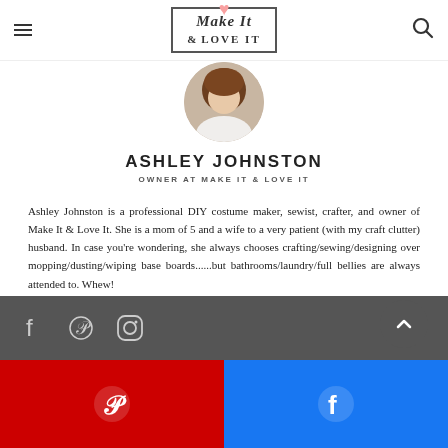Make It & LOVE IT
[Figure (photo): Circular profile photo of Ashley Johnston, a woman with brown hair]
ASHLEY JOHNSTON
OWNER AT MAKE IT & LOVE IT
Ashley Johnston is a professional DIY costume maker, sewist, crafter, and owner of Make It & Love It. She is a mom of 5 and a wife to a very patient (with my craft clutter) husband. In case you're wondering, she always chooses crafting/sewing/designing over mopping/dusting/wiping base boards......but bathrooms/laundry/full bellies are always attended to. Whew!
[Figure (infographic): Dark gray social media bar with Facebook, Pinterest, and Instagram icons on the left, and an info icon on the right]
[Figure (infographic): Red Pinterest share button and blue Facebook share button at the bottom of the page]